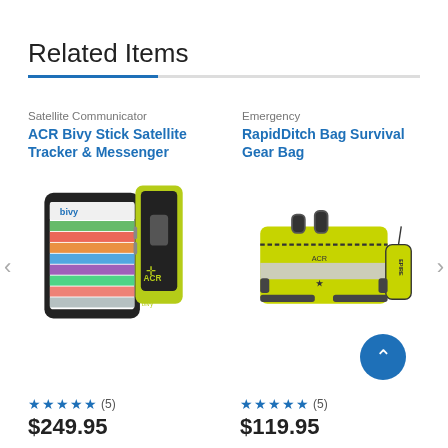Related Items
Satellite Communicator
ACR Bivy Stick Satellite Tracker & Messenger
[Figure (photo): ACR Bivy Stick satellite communicator device with paired smartphone showing the Bivy app interface]
★★★★★ (5) $249.95
Emergency
RapidDitch Bag Survival Gear Bag
[Figure (photo): Yellow-green RapidDitch survival gear bag with reflective stripe and attached EPIRE device]
★★★★★ (5) $119.95